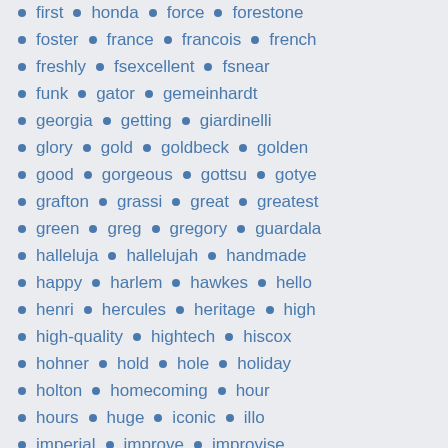first • honda • force • forestone
foster • france • francois • french
freshly • fsexcellent • fsnear
funk • gator • gemeinhardt
georgia • getting • giardinelli
glory • gold • goldbeck • golden
good • gorgeous • gottsu • gotye
grafton • grassi • great • greatest
green • greg • gregory • guardala
halleluja • hallelujah • handmade
happy • harlem • hawkes • hello
henri • hercules • heritage • high
high-quality • hightech • hiscox
hohner • hold • hole • holiday
holton • homecoming • hour
hours • huge • iconic • illo
imperial • improve • improvise
indiana • intermediate • intermusic
item4011cn • jazz • joan • jimmy